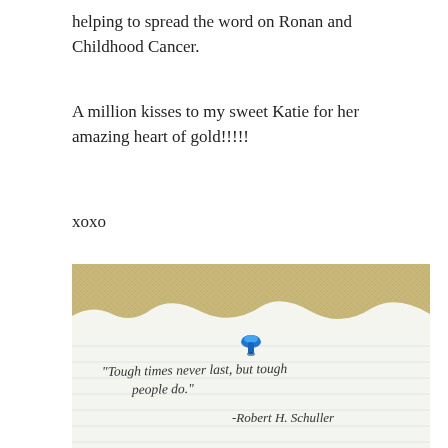helping to spread the word on Ronan and Childhood Cancer.
A million kisses to my sweet Katie for her amazing heart of gold!!!!!
xoxo
[Figure (photo): A photo of lined notebook paper with a blue thumbtack/pin and handwritten quote: "Tough times never last, but tough people do." -Robert H. Schuller, placed on a burlap/woven background.]